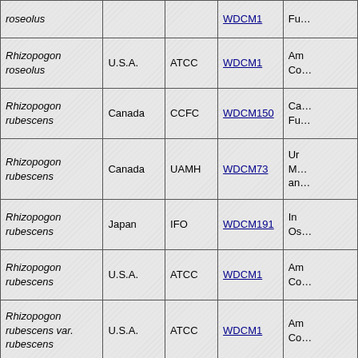| Species | Country | Collection | WDCM | Info |
| --- | --- | --- | --- | --- |
| Rhizopogon roseolus |  |  | WDCM1 | Fu… |
| Rhizopogon roseolus | U.S.A. | ATCC | WDCM1 | Am Co… |
| Rhizopogon rubescens | Canada | CCFC | WDCM150 | Ca… Fu… |
| Rhizopogon rubescens | Canada | UAMH | WDCM73 | Ur M… an… |
| Rhizopogon rubescens | Japan | IFO | WDCM191 | In Os… |
| Rhizopogon rubescens | U.S.A. | ATCC | WDCM1 | Am Co… |
| Rhizopogon rubescens var. rubescens | U.S.A. | ATCC | WDCM1 | Am Co… |
| Rhizopogon smithii | U.S.A. | ATCC | WDCM1 | Am Co… |
| Rhizopogon sp. | Canada | UAMH | WDCM73 | Ur M… an… |
| Rhizopogon sp. | Philippines | PNCM- | WDCM620 | Ph… |